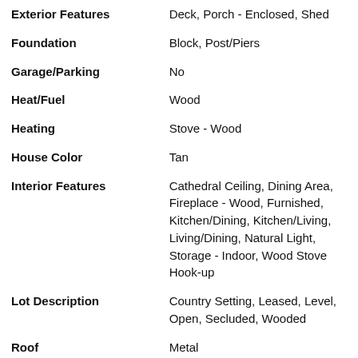| Feature | Value |
| --- | --- |
| Exterior Features | Deck, Porch - Enclosed, Shed |
| Foundation | Block, Post/Piers |
| Garage/Parking | No |
| Heat/Fuel | Wood |
| Heating | Stove - Wood |
| House Color | Tan |
| Interior Features | Cathedral Ceiling, Dining Area, Fireplace - Wood, Furnished, Kitchen/Dining, Kitchen/Living, Living/Dining, Natural Light, Storage - Indoor, Wood Stove Hook-up |
| Lot Description | Country Setting, Leased, Level, Open, Secluded, Wooded |
| Roof | Metal |